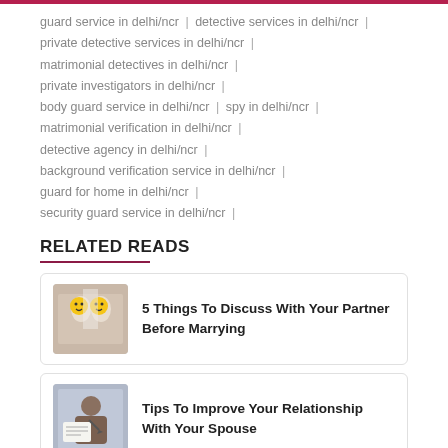guard service in delhi/ncr | detective services in delhi/ncr | private detective services in delhi/ncr | matrimonial detectives in delhi/ncr | private investigators in delhi/ncr | body guard service in delhi/ncr | spy in delhi/ncr | matrimonial verification in delhi/ncr | detective agency in delhi/ncr | background verification service in delhi/ncr | guard for home in delhi/ncr | security guard service in delhi/ncr |
RELATED READS
[Figure (photo): Photo of couple at wedding with emoji faces]
5 Things To Discuss With Your Partner Before Marrying
[Figure (photo): Photo of couple with letter/document]
Tips To Improve Your Relationship With Your Spouse